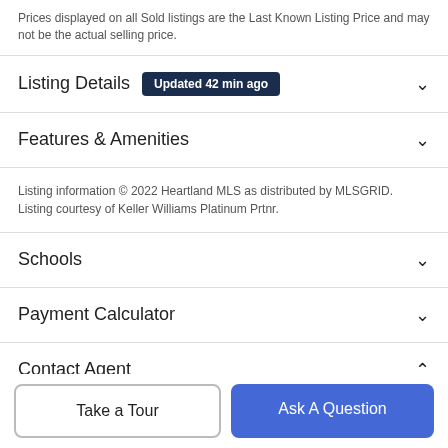Prices displayed on all Sold listings are the Last Known Listing Price and may not be the actual selling price.
Listing Details  Updated 42 min ago
Features & Amenities
Listing information © 2022 Heartland MLS as distributed by MLSGRID. Listing courtesy of Keller Williams Platinum Prtnr.
Schools
Payment Calculator
Contact Agent
Take a Tour
Ask A Question